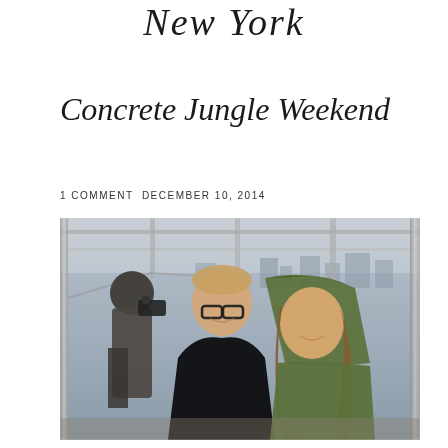New York
Concrete Jungle Weekend
1 COMMENT DECEMBER 10, 2014
[Figure (photo): Couple taking a selfie on an observation deck (Empire State Building) with New York City skyline visible in background. Man on left wearing glasses and black jacket; woman on right wearing olive/green hoodie. Another visitor with camera visible in background left.]